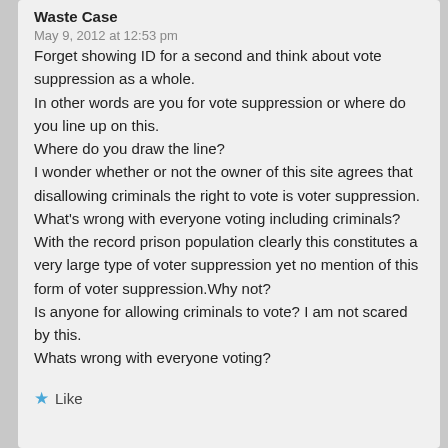Waste Case
May 9, 2012 at 12:53 pm
Forget showing ID for a second and think about vote suppression as a whole.
In other words are you for vote suppression or where do you line up on this.
Where do you draw the line?
I wonder whether or not the owner of this site agrees that disallowing criminals the right to vote is voter suppression. What's wrong with everyone voting including criminals? With the record prison population clearly this constitutes a very large type of voter suppression yet no mention of this form of voter suppression.Why not?
Is anyone for allowing criminals to vote? I am not scared by this.
Whats wrong with everyone voting?
Like